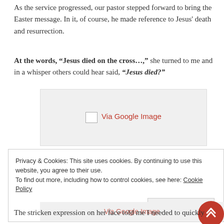As the service progressed, our pastor stepped forward to bring the Easter message. In it, of course, he made reference to Jesus' death and resurrection.
At the words, “Jesus died on the cross…,” she turned to me and in a whisper others could hear said, “Jesus died?”
[Figure (other): Broken image placeholder with 'Via Google Image' text in red]
Privacy & Cookies: This site uses cookies. By continuing to use this website, you agree to their use.
To find out more, including how to control cookies, see here: Cookie Policy
[Figure (other): Second broken image placeholder with 'Via Google Image' text and a red scroll-to-top button]
The stricken expression on her face told me I needed to quickly